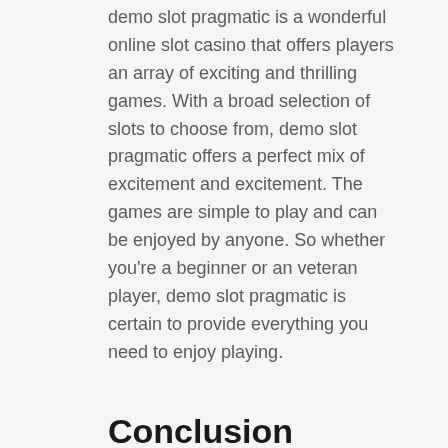demo slot pragmatic is a wonderful online slot casino that offers players an array of exciting and thrilling games. With a broad selection of slots to choose from, demo slot pragmatic offers a perfect mix of excitement and excitement. The games are simple to play and can be enjoyed by anyone. So whether you're a beginner or an veteran player, demo slot pragmatic is certain to provide everything you need to enjoy playing.
Conclusion
demo slot pragmatic – Play trusted online slot casino websites with real money is among the most effective ways to play the most enjoyable Slot game online. The online casino offers players a variety of Slot games which